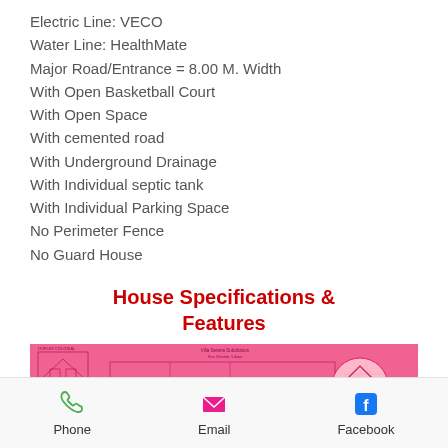Electric Line: VECO
Water Line: HealthMate
Major Road/Entrance = 8.00 M. Width
With Open Basketball Court
With Open Space
With cemented road
With Underground Drainage
With Individual septic tank
With Individual Parking Space
No Perimeter Fence
No Guard House
House Specifications & Features
[Figure (schematic): Pink background architectural/floor plan schematic of Villa Serena Subdivision, San Vicente, Liloan, showing house elevations and layout diagrams with a circular logo overlay.]
Phone   Email   Facebook